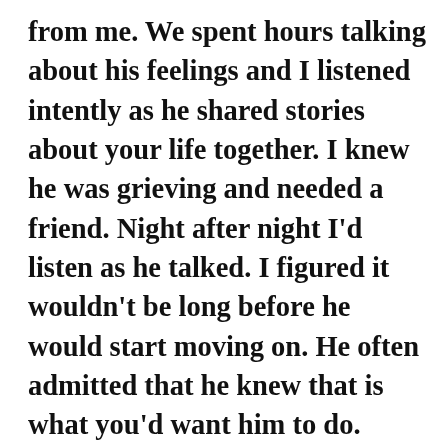from me. We spent hours talking about his feelings and I listened intently as he shared stories about your life together. I knew he was grieving and needed a friend. Night after night I'd listen as he talked. I figured it wouldn't be long before he would start moving on. He often admitted that he knew that is what you'd want him to do. Quite honestly, though, he was worried about what you were experiencing after you died. Were you in heaven? Or were you nowhere? The